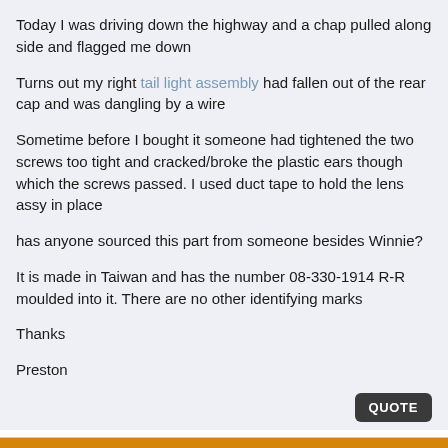Today I was driving down the highway and a chap pulled along side and flagged me down
Turns out my right tail light assembly had fallen out of the rear cap and was dangling by a wire
Sometime before I bought it someone had tightened the two screws too tight and cracked/broke the plastic ears though which the screws passed. I used duct tape to hold the lens assy in place
has anyone sourced this part from someone besides Winnie?
It is made in Taiwan and has the number 08-330-1914 R-R moulded into it. There are no other identifying marks
Thanks
Preston